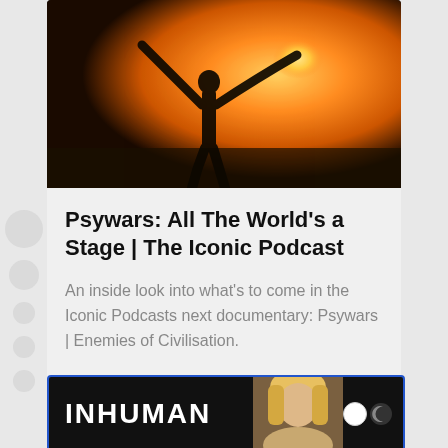[Figure (photo): Silhouette of a person with arms outstretched against a golden sunset sky]
Psywars: All The World's a Stage | The Iconic Podcast
An inside look into what's to come in the Iconic Podcasts next documentary: Psywars | Enemies of Civilisation.
News
[Figure (screenshot): Dark banner image with 'INHUMAN' text in white and a blonde person on the right, with a dark/light mode toggle button]